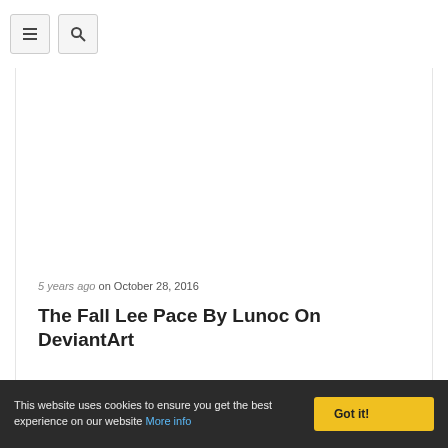≡  🔍
5 years ago on October 28, 2016
The Fall Lee Pace By Lunoc On DeviantArt
This website uses cookies to ensure you get the best experience on our website More info
Got it!